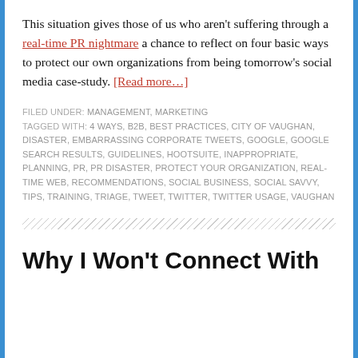This situation gives those of us who aren't suffering through a real-time PR nightmare a chance to reflect on four basic ways to protect our own organizations from being tomorrow's social media case-study. [Read more…]
FILED UNDER: MANAGEMENT, MARKETING
TAGGED WITH: 4 WAYS, B2B, BEST PRACTICES, CITY OF VAUGHAN, DISASTER, EMBARRASSING CORPORATE TWEETS, GOOGLE, GOOGLE SEARCH RESULTS, GUIDELINES, HOOTSUITE, INAPPROPRIATE, PLANNING, PR, PR DISASTER, PROTECT YOUR ORGANIZATION, REAL-TIME WEB, RECOMMENDATIONS, SOCIAL BUSINESS, SOCIAL SAVVY, TIPS, TRAINING, TRIAGE, TWEET, TWITTER, TWITTER USAGE, VAUGHAN
Why I Won't Connect With